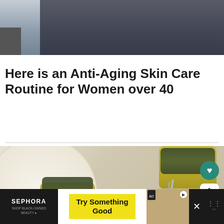[Figure (photo): Woman in dark navy jacket against brick wall, partial torso and lower body visible, wearing light grey pants]
Here is an Anti-Aging Skin Care Routine for Women over 40
[Figure (photo): Food styling photo showing small tart/quiche dishes with green herb toppings on white plates with blue-striped napkin and fork, overhead angle]
[Figure (screenshot): Advertisement banner: Sephora Shop Black-Owned Beauty — Try Something Good]